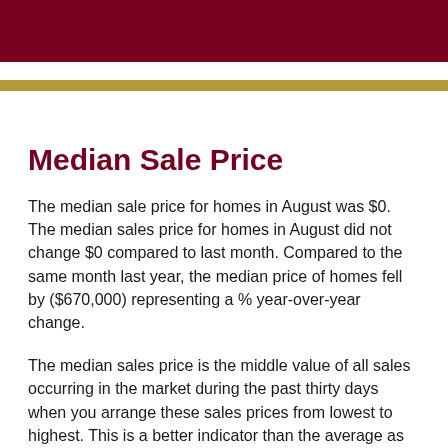Median Sale Price
The median sale price for homes in August was $0. The median sales price for homes in August did not change $0 compared to last month. Compared to the same month last year, the median price of homes fell by ($670,000) representing a % year-over-year change.
The median sales price is the middle value of all sales occurring in the market during the past thirty days when you arrange these sales prices from lowest to highest. This is a better indicator than the average as the median does not change as much as a result of a few unusually